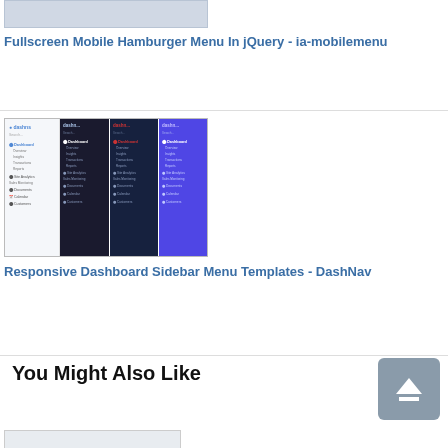[Figure (screenshot): Screenshot of fullscreen mobile hamburger menu UI]
Fullscreen Mobile Hamburger Menu In jQuery - ia-mobilemenu
[Figure (screenshot): Screenshot of Responsive Dashboard Sidebar Menu Templates - DashNav showing dark and purple sidebar variants]
Responsive Dashboard Sidebar Menu Templates - DashNav
You Might Also Like
[Figure (screenshot): Partially visible screenshot at bottom of page]